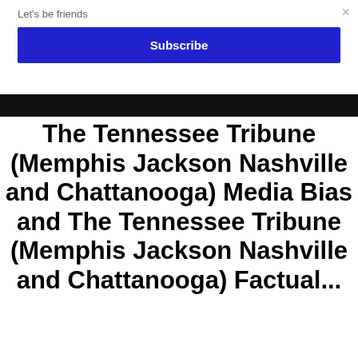Let's be friends
×
Subscribe
The Tennessee Tribune (Memphis Jackson Nashville and Chattanooga) Media Bias and The Tennessee Tribune (Memphis Jackson Nashville and Chattanooga) Factual...